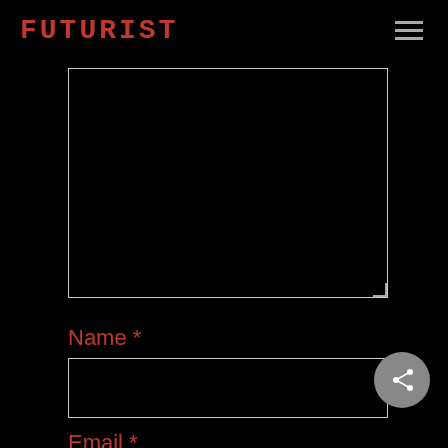FUTURIST
[Figure (screenshot): Large black textarea input field with white border and resize handle in bottom-right corner]
Name *
[Figure (screenshot): Name input field — black background with white border]
Email *